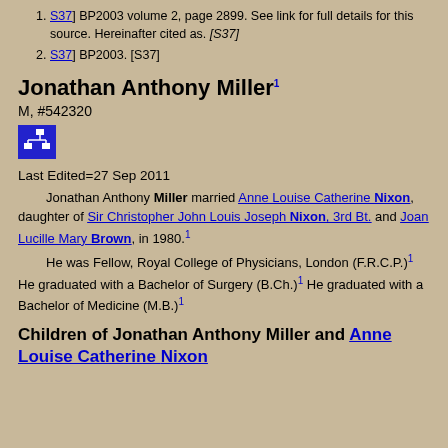[S37] BP2003 volume 2, page 2899. See link for full details for this source. Hereinafter cited as. [S37]
[S37] BP2003. [S37]
Jonathan Anthony Miller1
M, #542320
[Figure (other): Blue icon button with organizational/hierarchy tree symbol]
Last Edited=27 Sep 2011
Jonathan Anthony Miller married Anne Louise Catherine Nixon, daughter of Sir Christopher John Louis Joseph Nixon, 3rd Bt. and Joan Lucille Mary Brown, in 1980.1 He was Fellow, Royal College of Physicians, London (F.R.C.P.)1 He graduated with a Bachelor of Surgery (B.Ch.)1 He graduated with a Bachelor of Medicine (M.B.)1
Children of Jonathan Anthony Miller and Anne Louise Catherine Nixon